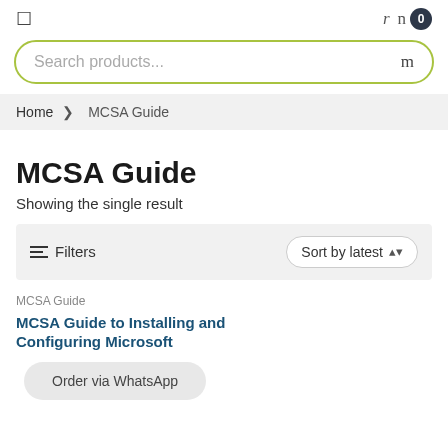Search products...
Home > MCSA Guide
MCSA Guide
Showing the single result
Filters   Sort by latest
MCSA Guide
MCSA Guide to Installing and Configuring Microsoft
Order via WhatsApp